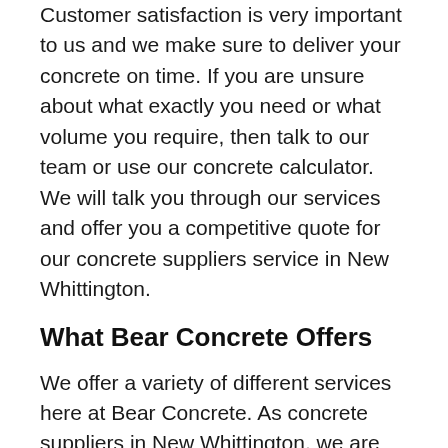Customer satisfaction is very important to us and we make sure to deliver your concrete on time. If you are unsure about what exactly you need or what volume you require, then talk to our team or use our concrete calculator. We will talk you through our services and offer you a competitive quote for our concrete suppliers service in New Whittington.
What Bear Concrete Offers
We offer a variety of different services here at Bear Concrete. As concrete suppliers in New Whittington, we are able to provide you with the following services:
Alpha-Flo - Alpha-Flo is a self-compacting flowing